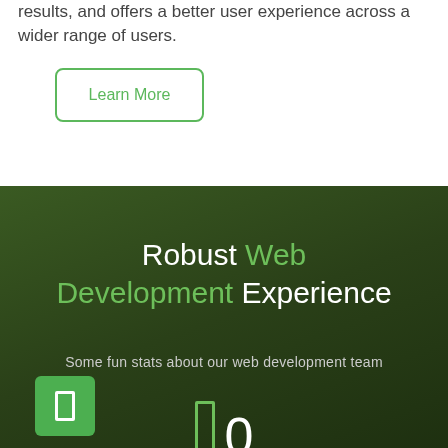results, and offers a better user experience across a wider range of users.
Learn More
Robust Web Development Experience
Some fun stats about our web development team
0